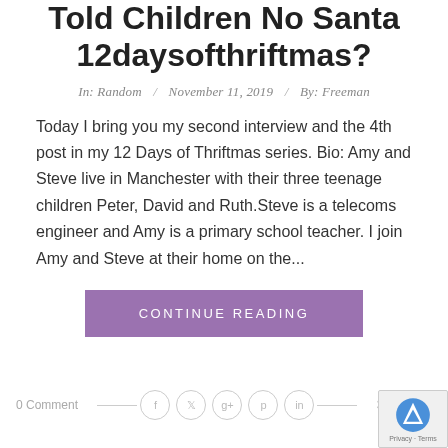Told Children No Santa 12daysofthriftmas?
In: Random / November 11, 2019 / By: Freeman
Today I bring you my second interview and the 4th post in my 12 Days of Thriftmas series. Bio: Amy and Steve live in Manchester with their three teenage children Peter, David and Ruth.Steve is a telecoms engineer and Amy is a primary school teacher. I join Amy and Steve at their home on the...
CONTINUE READING
0 Comment   304 Views